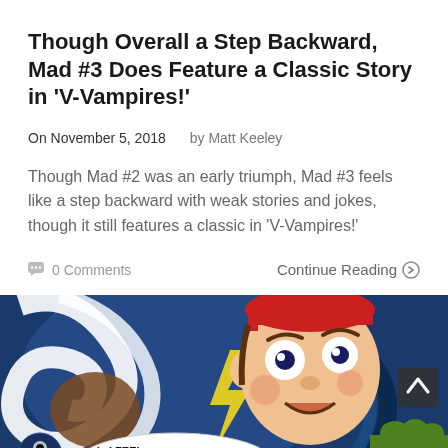Though Overall a Step Backward, Mad #3 Does Feature a Classic Story in 'V-Vampires!'
On November 5, 2018   by Matt Keeley
Though Mad #2 was an early triumph, Mad #3 feels like a step backward with weak stories and jokes, though it still features a classic in 'V-Vampires!'
0 Comments   Continue Reading ➔
[Figure (illustration): Close-up comic book panel showing a frightened character in a red cap with wide eyes, surrounded by swirling blue and white shapes, a yellow lightning bolt, and various monster faces. A speech bubble at the bottom reads 'I...I FEEL IT IN MY BONES! SOMEONE']